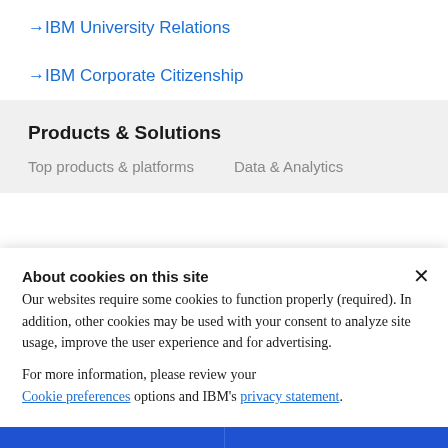→ IBM University Relations
→ IBM Corporate Citizenship
Products & Solutions
Top products & platforms   Data & Analytics
About cookies on this site
Our websites require some cookies to function properly (required). In addition, other cookies may be used with your consent to analyze site usage, improve the user experience and for advertising.

For more information, please review your Cookie preferences options and IBM's privacy statement.
Required only
Accept all